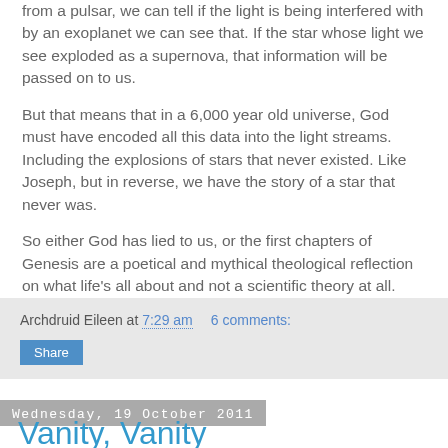from a pulsar, we can tell if the light is being interfered with by an exoplanet we can see that. If the star whose light we see exploded as a supernova, that information will be passed on to us.
But that means that in a 6,000 year old universe, God must have encoded all this data into the light streams. Including the explosions of stars that never existed. Like Joseph, but in reverse, we have the story of a star that never was.
So either God has lied to us, or the first chapters of Genesis are a poetical and mythical theological reflection on what life's all about and not a scientific theory at all.
I know which one I'm going with.
Archdruid Eileen at 7:29 am   6 comments:
Share
Wednesday, 19 October 2011
Vanity, Vanity